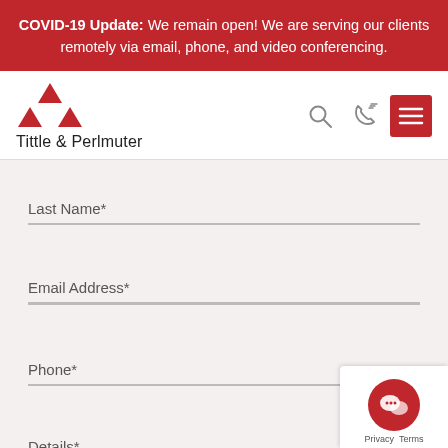COVID-19 Update: We remain open! We are serving our clients remotely via email, phone, and video conferencing.
[Figure (logo): Tittle & Perlmuter law firm logo with red triangle icon above the firm name]
Last Name*
Email Address*
Phone*
Details*